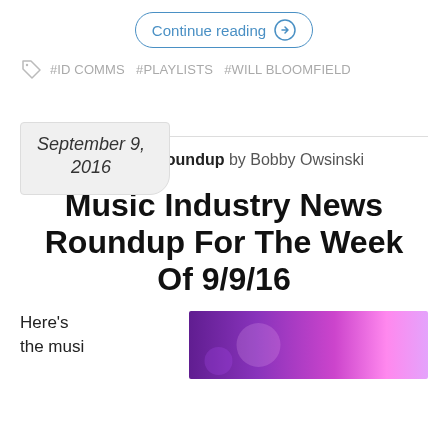Continue reading →
#ID COMMS #PLAYLISTS #WILL BLOOMFIELD
September 9, 2016
in Music Industry Roundup by Bobby Owsinski
Music Industry News Roundup For The Week Of 9/9/16
Here's the musi
[Figure (photo): Purple and pink stage lighting photo, partially visible]